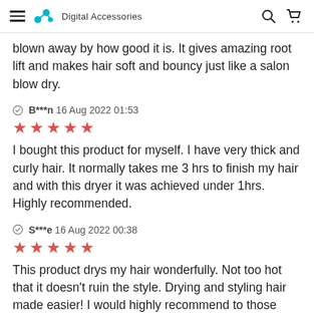Digital Accessories
blown away by how good it is. It gives amazing root lift and makes hair soft and bouncy just like a salon blow dry.
B***n  16 Aug 2022 01:53
★★★★★
I bought this product for myself. I have very thick and curly hair. It normally takes me 3 hrs to finish my hair and with this dryer it was achieved under 1hrs. Highly recommended.
S***e  16 Aug 2022 00:38
★★★★★
This product drys my hair wonderfully. Not too hot that it doesn't ruin the style. Drying and styling hair made easier! I would highly recommend to those who have trouble setting up hair.